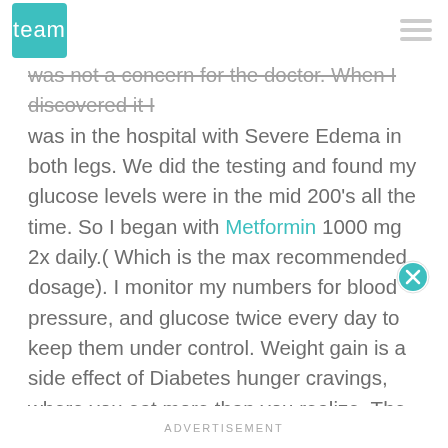team
was not a concern for the doctor. When I discovered it I was in the hospital with Severe Edema in both legs. We did the testing and found my glucose levels were in the mid 200's all the time. So I began with Metformin 1000 mg 2x daily.( Which is the max recommended dosage). I monitor my numbers for blood pressure, and glucose twice every day to keep them under control. Weight gain is a side effect of Diabetes hunger cravings, where you eat more than you realize. The weight will also effect the joints in your legs and their strength to support your body. Testing is very useful to help you learn about how Diabetes works on your body. It also will help you to avoid poor eating choices because it will remind you
ADVERTISEMENT